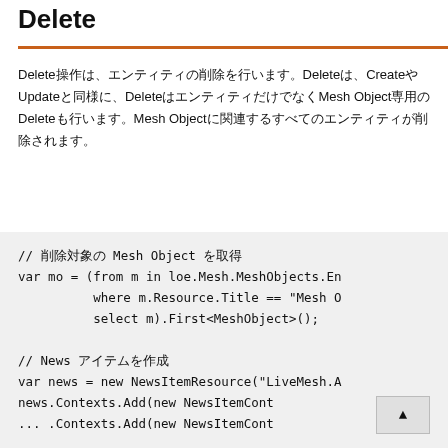Delete
Delete操作は、エンティティの削除を行います。DeleteはCreateやUpdateと同様に、DeleteはエンティティだけでなくMesh ObjectのDeleteも行います。Mesh Objectに関連するすべてのエンティティが削除されます。
// 削除対象の Mesh Object を取得
var mo = (from m in loe.Mesh.MeshObjects.En
          where m.Resource.Title == "Mesh O
          select m).First<MeshObject>();

// News アイテムを作成
var news = new NewsItemResource("LiveMesh.A
news.Contexts.Add(new NewsItemCont
... .Contexts.Add(new NewsItemCont